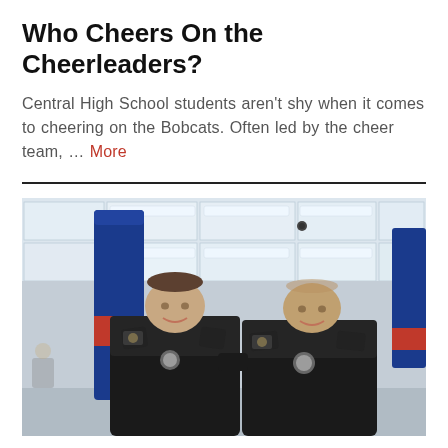Who Cheers On the Cheerleaders?
Central High School students aren't shy when it comes to cheering on the Bobcats. Often led by the cheer team, … More
[Figure (photo): Two police officers in black uniforms smiling and posing together inside what appears to be a school gymnasium or cafeteria, with a blue and red spirit banner/column visible behind them and fluorescent ceiling lights overhead.]